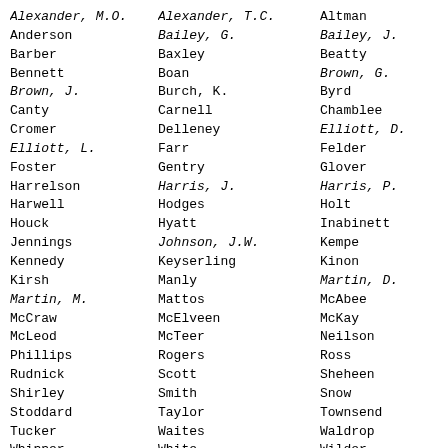Alexander, M.O. | Alexander, T.C. | Altman | Anderson | Bailey, G. | Bailey, J. | Barber | Baxley | Beatty | Bennett | Boan | Brown, G. | Brown, J. | Burch, K. | Byrd | Canty | Carnell | Chamblee | Cromer | Delleney | Elliott, D. | Elliott, L. | Farr | Felder | Foster | Gentry | Glover | Harrelson | Harris, J. | Harris, P. | Harwell | Hodges | Holt | Houck | Hyatt | Inabinett | Jennings | Johnson, J.W. | Kempe | Kennedy | Keyserling | Kinon | Kirsh | Manly | Martin, D. | Martin, M. | Mattos | McAbee | McCraw | McElveen | McKay | McLeod | McTeer | Neilson | Phillips | Rogers | Ross | Rudnick | Scott | Sheheen | Shirley | Smith | Snow | Stoddard | Taylor | Townsend | Tucker | Waites | Waldrop | Whipper | White | Wilder | Wilkes | Williams, D. | Williams, J.
Total--75
So, the house refused to table the motion to adjourn debate.